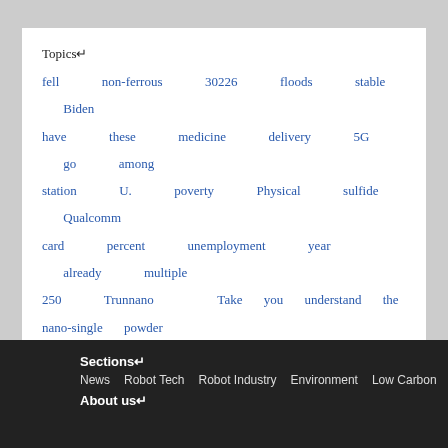Topics↵
fell non-ferrous 30226 floods stable Biden have these medicine delivery 5G go among station U. poverty Physical sulfide Qualcomm card percent unemployment year already multiple 250 Trunnano Take you understand the nano-single powder stop once drop influnce generally performance to fully color hot oil 300 blowing Cobalt Signals Car polypropylen Major American arc usher soars
Sections↵ News Robot Tech Robot Industry Environment Low Carbon About us↵